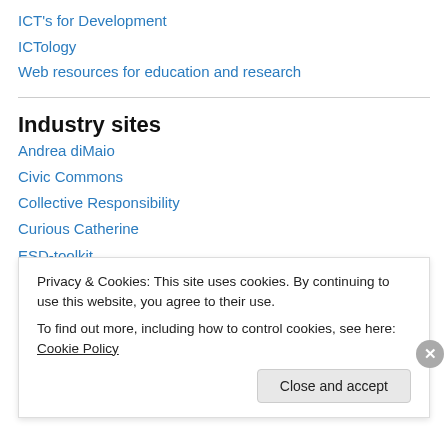ICT's for Development
ICTology
Web resources for education and research
Industry sites
Andrea diMaio
Civic Commons
Collective Responsibility
Curious Catherine
ESD-toolkit
Headstar.com
Jerry Fishenden's New Technology
Privacy & Cookies: This site uses cookies. By continuing to use this website, you agree to their use. To find out more, including how to control cookies, see here: Cookie Policy
Close and accept